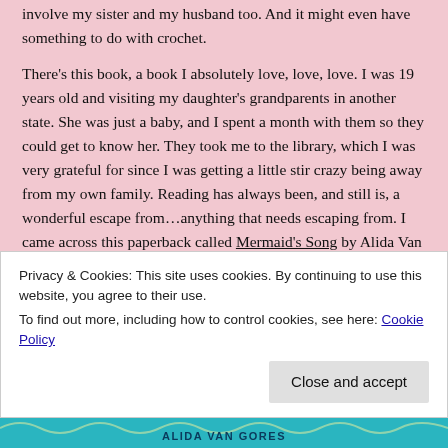involve my sister and my husband too. And it might even have something to do with crochet.
There's this book, a book I absolutely love, love, love. I was 19 years old and visiting my daughter's grandparents in another state. She was just a baby, and I spent a month with them so they could get to know her. They took me to the library, which I was very grateful for since I was getting a little stir crazy being away from my own family. Reading has always been, and still is, a wonderful escape from…anything that needs escaping from. I came across this paperback called Mermaid's Song by Alida Van Gores. I fell in love with it instantly. It's about mermaid's. I loved mermaids back then. I love mermaids now. It was a match made in sea heaven.
[Figure (photo): Book cover image showing teal/turquoise decorative pattern with text 'IN A DEEP REALM ON THE BRINK OF DOOM' visible at bottom, and partial author name below.]
Privacy & Cookies: This site uses cookies. By continuing to use this website, you agree to their use.
To find out more, including how to control cookies, see here: Cookie Policy
Close and accept